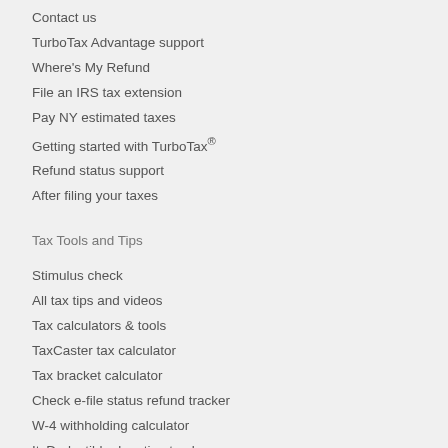Contact us
TurboTax Advantage support
Where's My Refund
File an IRS tax extension
Pay NY estimated taxes
Getting started with TurboTax®
Refund status support
After filing your taxes
Tax Tools and Tips
Stimulus check
All tax tips and videos
Tax calculators & tools
TaxCaster tax calculator
Tax bracket calculator
Check e-file status refund tracker
W-4 withholding calculator
ItsDeductible donation tracker
Self-employed expense estimator
Social